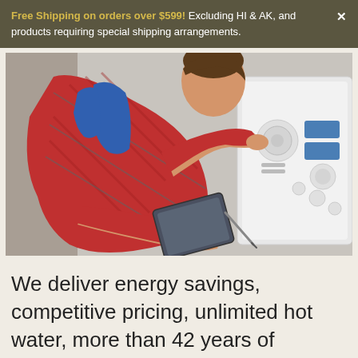Free Shipping on orders over $599! Excluding HI & AK, and products requiring special shipping arrangements.
[Figure (photo): A technician in a red plaid shirt and blue overalls leans in to adjust controls on a white wall-mounted boiler/heating unit while holding a tablet and pen.]
We deliver energy savings, competitive pricing, unlimited hot water, more than 42 years of experience and free lifetime technical